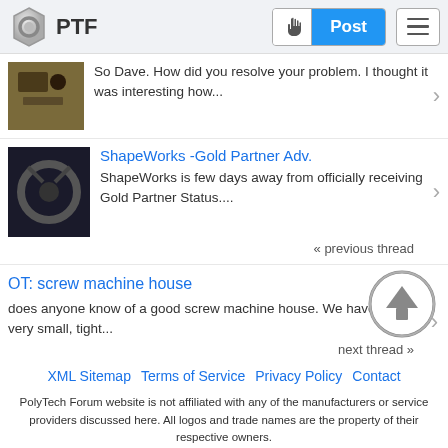PTF | Post
So Dave. How did you resolve your problem. I thought it was interesting how...
ShapeWorks -Gold Partner Adv.
ShapeWorks is few days away from officially receiving Gold Partner Status....
« previous thread
OT: screw machine house
does anyone know of a good screw machine house. We have a very small, tight...
next thread »
XML Sitemap   Terms of Service   Privacy Policy   Contact
PolyTech Forum website is not affiliated with any of the manufacturers or service providers discussed here. All logos and trade names are the property of their respective owners.